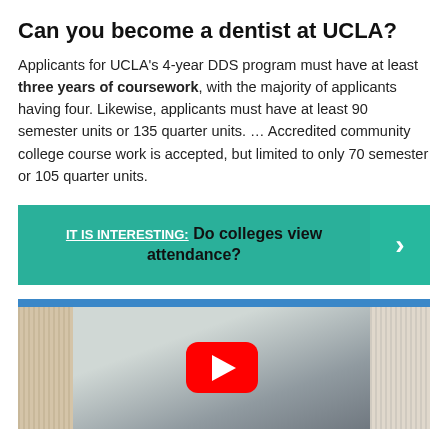Can you become a dentist at UCLA?
Applicants for UCLA's 4-year DDS program must have at least three years of coursework, with the majority of applicants having four. Likewise, applicants must have at least 90 semester units or 135 quarter units. … Accredited community college course work is accepted, but limited to only 70 semester or 105 quarter units.
[Figure (infographic): Teal banner with text 'IT IS INTERESTING: Do colleges view attendance?' and a right-facing chevron arrow on the right side]
[Figure (screenshot): YouTube video thumbnail showing a dental office / clinic interior with a red YouTube play button overlay]